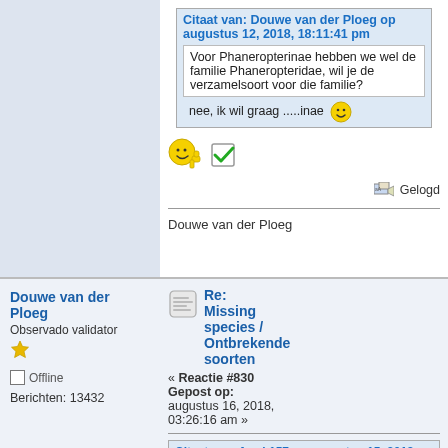Citaat van: Douwe van der Ploeg op augustus 12, 2018, 18:11:41 pm
Voor Phaneropterinae hebben we wel de familie Phaneropteridae, wil je de verzamelsoort voor die familie?
nee, ik wil graag .....inae 😊
[Figure (illustration): Emoji smiley thumbs up and green checkbox icons]
Gelogd
Douwe van der Ploeg
Douwe van der Ploeg
Observado validator
Offline
Berichten: 13432
Re: Missing species / Ontbrekende soorten
« Reactie #830
Gepost op: augustus 16, 2018, 03:26:16 am »
Citaat van: frank157 op augustus 15, 2018, 21:54:38 pm
Zouden jullie de volgende nachtvlinder willen toevoegen:

Geometridae:
Scopula serena Prout L. B., 1920